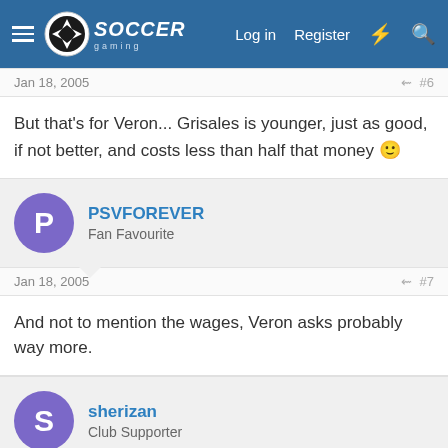Soccer Gaming — Log in  Register
Jan 18, 2005  #6
But that's for Veron... Grisales is younger, just as good, if not better, and costs less than half that money 😄
PSVFOREVER — Fan Favourite
Jan 18, 2005  #7
And not to mention the wages, Veron asks probably way more.
sherizan — Club Supporter
Jan 18, 2005  #8
yeh 80,000 per week .. but hes a bargain at 4.2 along with